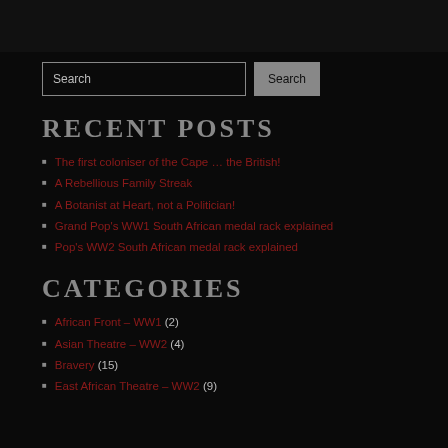Search [input] Search [button]
RECENT POSTS
The first coloniser of the Cape … the British!
A Rebellious Family Streak
A Botanist at Heart, not a Politician!
Grand Pop's WW1 South African medal rack explained
Pop's WW2 South African medal rack explained
CATEGORIES
African Front – WW1 (2)
Asian Theatre – WW2 (4)
Bravery (15)
East African Theatre – WW2 (9)